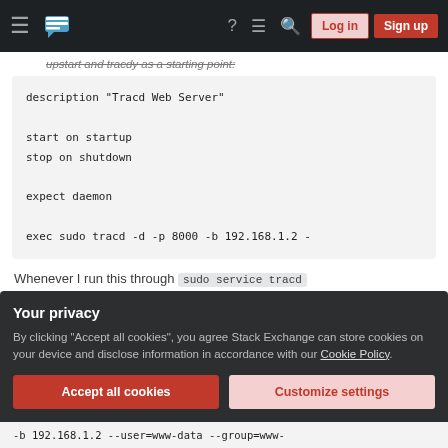Stack Exchange navigation bar with Log in and Sign up buttons
upstart and tracdy as a starting point:
description "Tracd Web Server"

start on startup
stop on shutdown

expect daemon

exec sudo tracd -d -p 8000 -b 192.168.1.2 -
Whenever I run this through sudo service tracd start or sudo service tracd stop, it simply
Your privacy
By clicking "Accept all cookies", you agree Stack Exchange can store cookies on your device and disclose information in accordance with our Cookie Policy.
Accept all cookies  Customize settings
-b 192.168.1.2 --user=www-data --group=www-